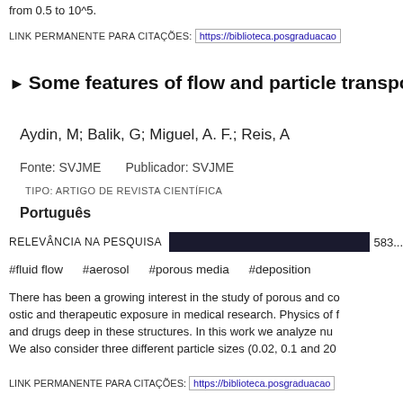from 0.5 to 10^5.
LINK PERMANENTE PARA CITAÇÕES: https://biblioteca.posgraduacao...
▶ Some features of flow and particle transport
Aydin, M; Balik, G; Miguel, A. F.; Reis, A
Fonte: SVJME    Publicador: SVJME
TIPO: ARTIGO DE REVISTA CIENTÍFICA
Português
RELEVÂNCIA NA PESQUISA [bar] 583...
#fluid flow
#aerosol
#porous media
#deposition
There has been a growing interest in the study of porous and co ostic and therapeutic exposure in medical research. Physics of f and drugs deep in these structures. In this work we analyze nu We also consider three different particle sizes (0.02, 0.1 and 20
LINK PERMANENTE PARA CITAÇÕES: https://biblioteca.posgraduacao...